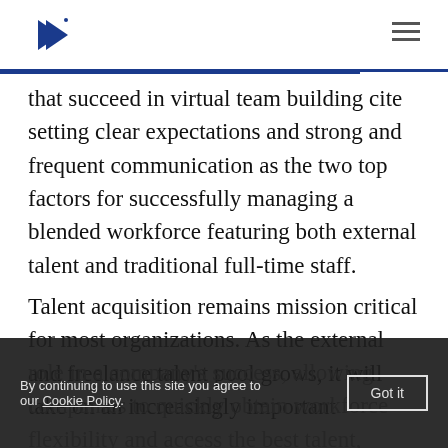[TopTal logo + navigation]
that succeed in virtual team building cite setting clear expectations and strong and frequent communication as the two top factors for successfully managing a blended workforce featuring both external talent and traditional full-time staff.
Talent acquisition remains mission critical for most organizations. As the external and freelance talent pool grows, it will take on an increasingly important
role in a company's success, allowing companies to quickly obtain workforce flexibility and access the best talent, regardless of geographic location.
By continuing to use this site you agree to our Cookie Policy.